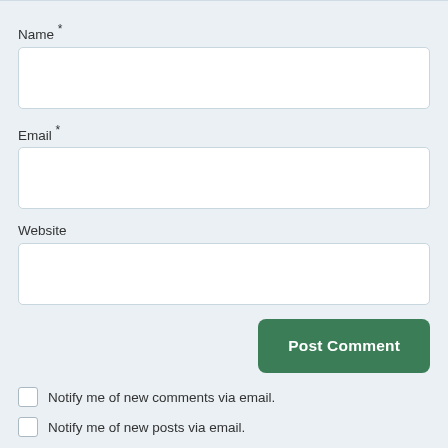Name *
[Figure (other): Empty text input field for Name]
Email *
[Figure (other): Empty text input field for Email]
Website
[Figure (other): Empty text input field for Website]
[Figure (other): Post Comment button (green)]
Notify me of new comments via email.
Notify me of new posts via email.